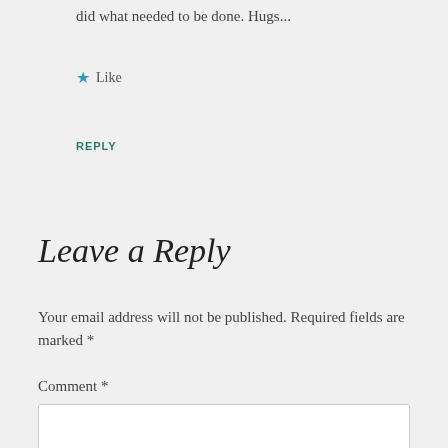did what needed to be done. Hugs...
★ Like
REPLY
Leave a Reply
Your email address will not be published. Required fields are marked *
Comment *